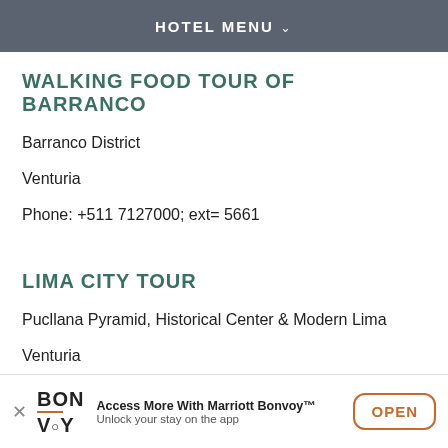HOTEL MENU
WALKING FOOD TOUR OF BARRANCO
Barranco District
Venturia
Phone: +511 7127000; ext= 5661
LIMA CITY TOUR
Pucllana Pyramid, Historical Center & Modern Lima
Venturia
Phone: +511 7127000; ext= 5661
Access More With Marriott Bonvoy™ Unlock your stay on the app